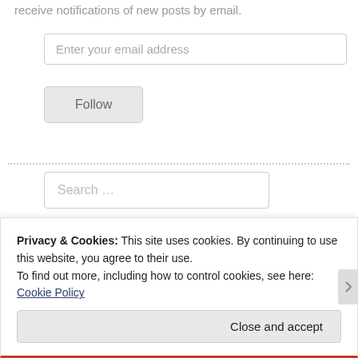receive notifications of new posts by email.
Enter your email address
Follow
Search …
ARCHIVES
Privacy & Cookies: This site uses cookies. By continuing to use this website, you agree to their use.
To find out more, including how to control cookies, see here: Cookie Policy
Close and accept